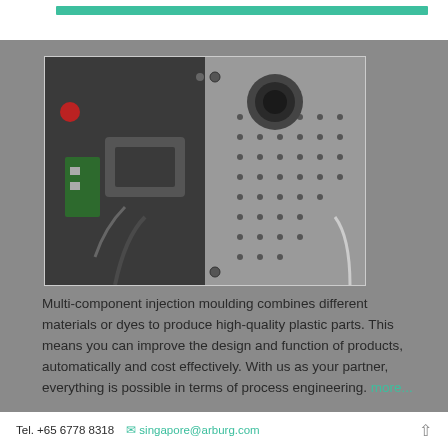[Figure (photo): Interior of an injection moulding machine showing mechanical components, cables, perforated metal panels, and industrial machinery parts in dark grey tones.]
Multi-component injection moulding combines different materials or dyes to produce high-quality plastic parts. This means you can improve the design and function of products, automatically and cost effectively. With us as your partner, everything is possible in terms of process engineering. more...
Micro-injection moulding
[Figure (photo): A small green ball-headed pin (map pin) shown against a light grey background, illustrating the scale relevant to micro-injection moulding.]
Tel. +65 6778 8318   singapore@arburg.com